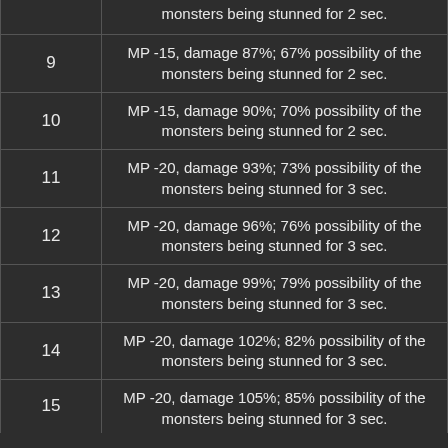| Level | Effect |
| --- | --- |
|  | …possibility of the monsters being stunned for 2 sec. |
| 9 | MP -15, damage 87%; 67% possibility of the monsters being stunned for 2 sec. |
| 10 | MP -15, damage 90%; 70% possibility of the monsters being stunned for 2 sec. |
| 11 | MP -20, damage 93%; 73% possibility of the monsters being stunned for 3 sec. |
| 12 | MP -20, damage 96%; 76% possibility of the monsters being stunned for 3 sec. |
| 13 | MP -20, damage 99%; 79% possibility of the monsters being stunned for 3 sec. |
| 14 | MP -20, damage 102%; 82% possibility of the monsters being stunned for 3 sec. |
| 15 | MP -20, damage 105%; 85% possibility of the monsters being stunned for 3 sec. |